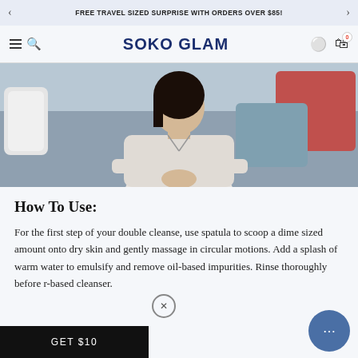FREE TRAVEL SIZED SURPRISE WITH ORDERS OVER $85!
SOKO GLAM
[Figure (photo): Photo of a woman in a white shirt sitting on a sofa with colorful pillows (red, blue, grey), partially cropped.]
How To Use:
For the first step of your double cleanse, use spatula to scoop a dime sized amount onto dry skin and gently massage in circular motions. Add a splash of warm water to emulsify and remove oil-based impurities. Rinse thoroughly before r-based cleanser.